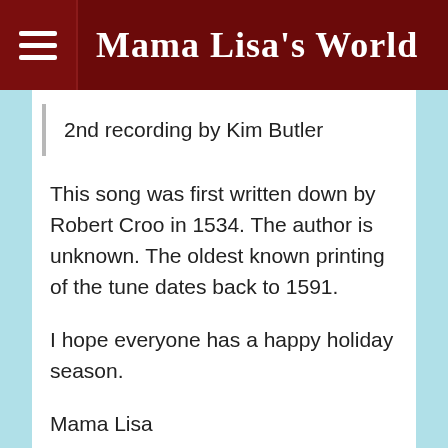Mama Lisa's World
2nd recording by Kim Butler
This song was first written down by Robert Croo in 1534.  The author is unknown.  The oldest known printing of the tune dates back to 1591.

I hope everyone has a happy holiday season.

Mama Lisa